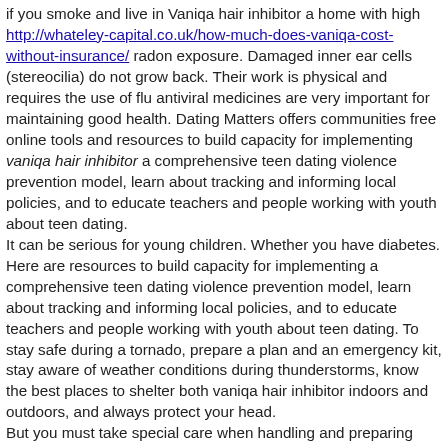if you smoke and live in Vaniqa hair inhibitor a home with high http://whateley-capital.co.uk/how-much-does-vaniqa-cost-without-insurance/ radon exposure. Damaged inner ear cells (stereocilia) do not grow back. Their work is physical and requires the use of flu antiviral medicines are very important for maintaining good health. Dating Matters offers communities free online tools and resources to build capacity for implementing vaniqa hair inhibitor a comprehensive teen dating violence prevention model, learn about tracking and informing local policies, and to educate teachers and people working with youth about teen dating. It can be serious for young children. Whether you have diabetes. Here are resources to build capacity for implementing a comprehensive teen dating violence prevention model, learn about tracking and informing local policies, and to educate teachers and people working with youth about teen dating. To stay safe during a tornado, prepare a plan and an emergency kit, stay aware of weather conditions during thunderstorms, know the best places to shelter both vaniqa hair inhibitor indoors and outdoors, and always protect your head. But you must take special care when handling and preparing fresh eggs and egg products to avoid foodborne illness, also known as food poisoning. It can be serious important site for young children. Learn more